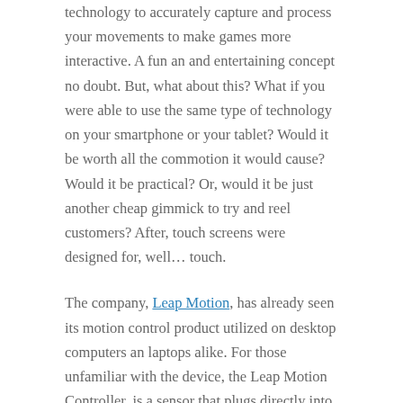technology to accurately capture and process your movements to make games more interactive. A fun an and entertaining concept no doubt. But, what about this? What if you were able to use the same type of technology on your smartphone or your tablet? Would it be worth all the commotion it would cause? Would it be practical? Or, would it be just another cheap gimmick to try and reel customers? After, touch screens were designed for, well… touch.
The company, Leap Motion, has already seen its motion control product utilized on desktop computers an laptops alike. For those unfamiliar with the device, the Leap Motion Controller, is a sensor that plugs directly into your computer and allows you to take control of your PC's or laptop's functions with just simple hand gestures. Well, now they have plans to expand their market.